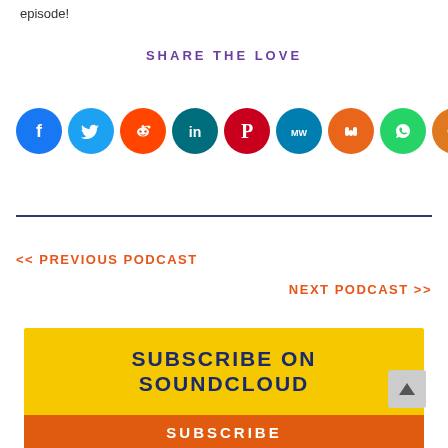episode!
SHARE THE LOVE
[Figure (infographic): Row of social media sharing icon circles: Facebook (dark blue), Twitter (light blue), Reddit (orange-red), LinkedIn (dark blue-teal), Pinterest (red), MeWe (teal), Mix (orange), WhatsApp (green), Share (orange)]
<< PREVIOUS PODCAST
NEXT PODCAST >>
SUBSCRIBE ON SOUNDCLOUD
SUBSCRIBE